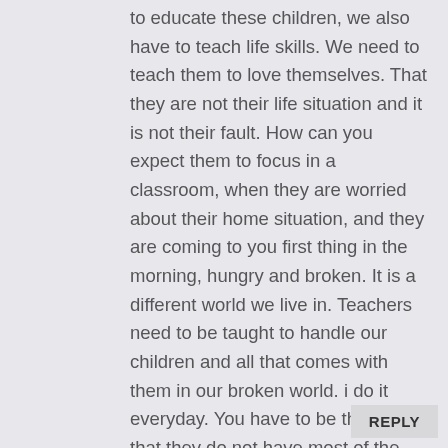to educate these children, we also have to teach life skills. We need to teach them to love themselves. That they are not their life situation and it is not their fault. How can you expect them to focus in a classroom, when they are worried about their home situation, and they are coming to you first thing in the morning, hungry and broken. It is a different world we live in. Teachers need to be taught to handle our children and all that comes with them in our broken world. i do it everyday. You have to be the family that they do not have most of the time. Once they see how much you care, you will get threw to them.
REPLY